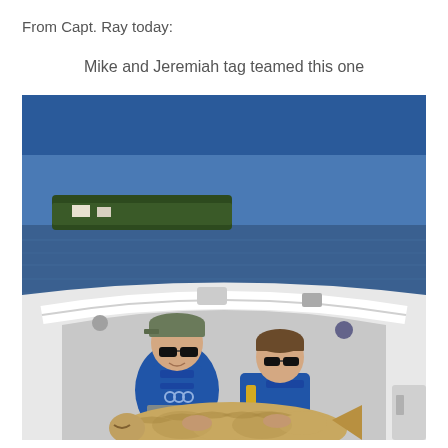From Capt. Ray today:
Mike and Jeremiah tag teamed this one
[Figure (photo): Two young boys in blue life jackets sitting on a white boat, holding a large fish. The older boy wears a camo cap and sunglasses; the younger boy wears sunglasses. A calm bay with a wooded shoreline is visible in the background under a clear blue sky.]